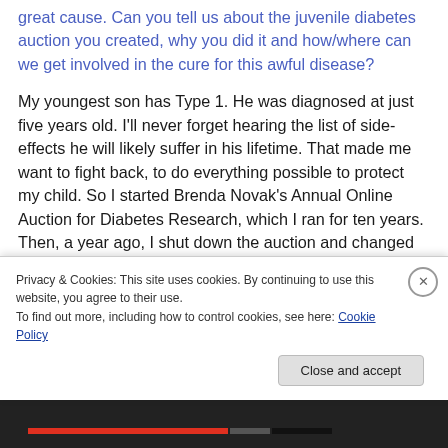great cause. Can you tell us about the juvenile diabetes auction you created, why you did it and how/where can we get involved in the cure for this awful disease?
My youngest son has Type 1. He was diagnosed at just five years old. I'll never forget hearing the list of side-effects he will likely suffer in his lifetime. That made me want to fight back, to do everything possible to protect my child. So I started Brenda Novak's Annual Online Auction for Diabetes Research, which I ran for ten years. Then, a year ago, I shut down the auction and changed up my fundraising efforts by procuring a digital based set...
Privacy & Cookies: This site uses cookies. By continuing to use this website, you agree to their use.
To find out more, including how to control cookies, see here: Cookie Policy